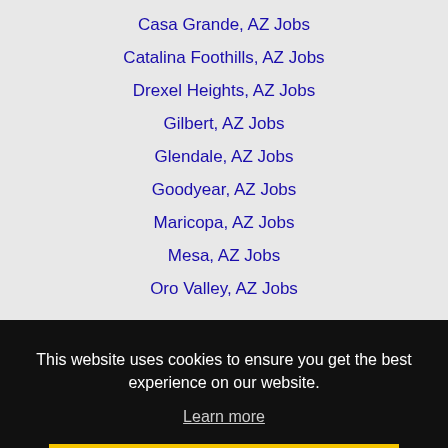Casa Grande, AZ Jobs
Catalina Foothills, AZ Jobs
Drexel Heights, AZ Jobs
Gilbert, AZ Jobs
Glendale, AZ Jobs
Goodyear, AZ Jobs
Maricopa, AZ Jobs
Mesa, AZ Jobs
Oro Valley, AZ Jobs
This website uses cookies to ensure you get the best experience on our website.
Learn more
Got it!
Tucson, AZ Jobs